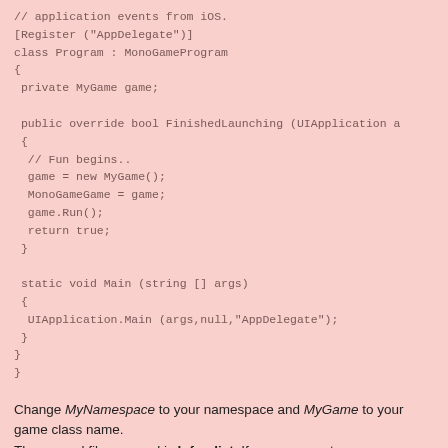// application events from iOS.
[Register ("AppDelegate")]
class Program : MonoGameProgram
{
 private MyGame game;

 public override bool FinishedLaunching (UIApplication a
 {
  // Fun begins..
  game = new MyGame();
  MonoGameGame = game;
  game.Run();
  return true;
 }

 static void Main (string [] args)
 {
  UIApplication.Main (args,null,"AppDelegate");
 }
}
}
Change MyNamespace to your namespace and MyGame to your game class name.
The second file we need is Info.plist. If you are new to